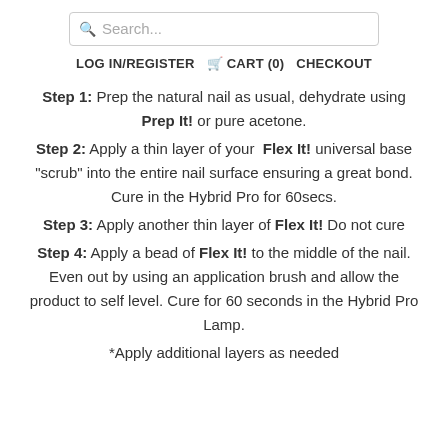Search...
LOG IN/REGISTER   CART (0)   CHECKOUT
Step 1: Prep the natural nail as usual, dehydrate using Prep It! or pure acetone.
Step 2: Apply a thin layer of your Flex It! universal base "scrub" into the entire nail surface ensuring a great bond. Cure in the Hybrid Pro for 60secs.
Step 3: Apply another thin layer of Flex It! Do not cure
Step 4: Apply a bead of Flex It! to the middle of the nail. Even out by using an application brush and allow the product to self level. Cure for 60 seconds in the Hybrid Pro Lamp.
*Apply additional layers as needed